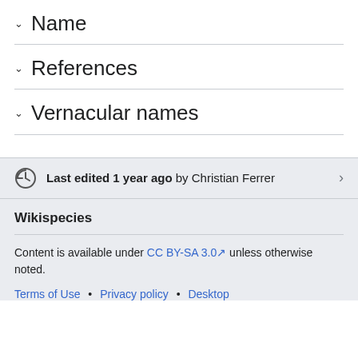Name
References
Vernacular names
Last edited 1 year ago by Christian Ferrer
Wikispecies
Content is available under CC BY-SA 3.0 unless otherwise noted.
Terms of Use • Privacy policy • Desktop